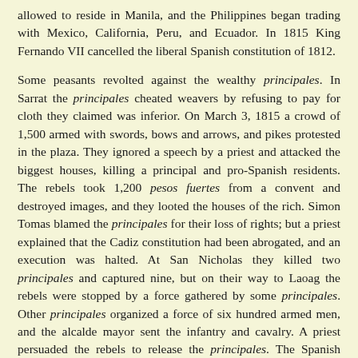allowed to reside in Manila, and the Philippines began trading with Mexico, California, Peru, and Ecuador. In 1815 King Fernando VII cancelled the liberal Spanish constitution of 1812.
Some peasants revolted against the wealthy principales. In Sarrat the principales cheated weavers by refusing to pay for cloth they claimed was inferior. On March 3, 1815 a crowd of 1,500 armed with swords, bows and arrows, and pikes protested in the plaza. They ignored a speech by a priest and attacked the biggest houses, killing a principal and pro-Spanish residents. The rebels took 1,200 pesos fuertes from a convent and destroyed images, and they looted the houses of the rich. Simon Tomas blamed the principales for their loss of rights; but a priest explained that the Cadiz constitution had been abrogated, and an execution was halted. At San Nicholas they killed two principales and captured nine, but on their way to Laoag the rebels were stopped by a force gathered by some principales. Other principales organized a force of six hundred armed men, and the alcalde mayor sent the infantry and cavalry. A priest persuaded the rebels to release the principales. The Spanish forces set Sarrat on fire, and those rebel leaders not escaping to the mountains were imprisoned.
In 1820 the Mexican revolutionary Agustin Iturbide seized Manila goods sold for two million pesos, devastating the galleon trade. Governor-General Juan Antonio Martinez brought in Spanish